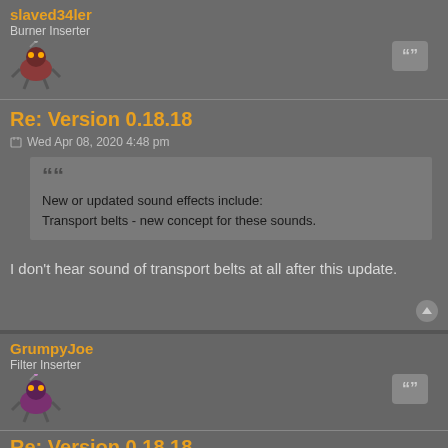slaved34ler
Burner Inserter
Re: Version 0.18.18
Wed Apr 08, 2020 4:48 pm
New or updated sound effects include:
Transport belts - new concept for these sounds.
I don't hear sound of transport belts at all after this update.
GrumpyJoe
Filter Inserter
Re: Version 0.18.18
Wed Apr 08, 2020 6:01 pm